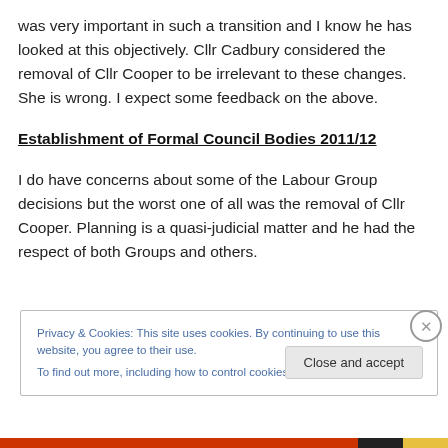was very important in such a transition and I know he has looked at this objectively. Cllr Cadbury considered the removal of Cllr Cooper to be irrelevant to these changes. She is wrong. I expect some feedback on the above.
Establishment of Formal Council Bodies 2011/12
I do have concerns about some of the Labour Group decisions but the worst one of all was the removal of Cllr Cooper. Planning is a quasi-judicial matter and he had the respect of both Groups and others.
Privacy & Cookies: This site uses cookies. By continuing to use this website, you agree to their use.
To find out more, including how to control cookies, see here: Cookie Policy
Close and accept